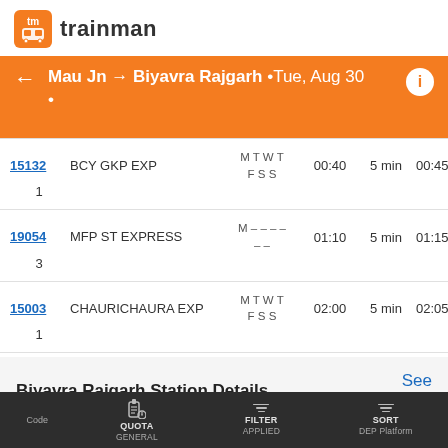[Figure (logo): Trainman app logo with orange tm icon and 'trainman' text]
← Mau Jn → Biyavra Rajgarh • Tue, Aug 30 •
| Train No. | Train Name | Days | Dep | Halt | Arr | Plat |
| --- | --- | --- | --- | --- | --- | --- |
| 15132 | BCY GKP EXP | M T W T F S S | 00:40 | 5 min | 00:45 | 1 |
| 19054 | MFP ST EXPRESS | M – – – – – | 01:10 | 5 min | 01:15 | 3 |
| 15003 | CHAURICHAURA EXP | M T W T F S S | 02:00 | 5 min | 02:05 | 1 |
Biyavra Rajgarh Station Details
See more...
Code   QUOTA GENERAL   Runs APPLIED ive   Halt – Dep DEP Platform   SORT